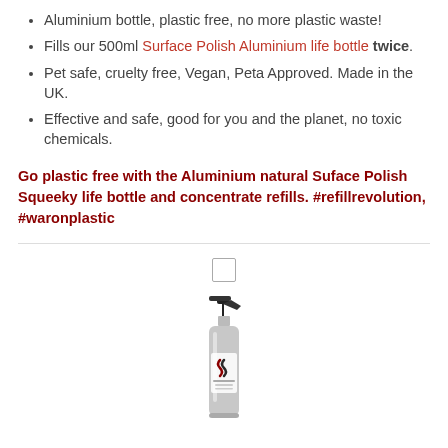Aluminium bottle, plastic free, no more plastic waste!
Fills our 500ml Surface Polish Aluminium life bottle twice.
Pet safe, cruelty free, Vegan, Peta Approved. Made in the UK.
Effective and safe, good for you and the planet, no toxic chemicals.
Go plastic free with the Aluminium natural Suface Polish Squeeky life bottle and concentrate refills. #refillrevolution, #waronplastic
[Figure (photo): A silver aluminium spray bottle product (Organic Surface Polish Life Bottle) with a black trigger spray top, shown with a checkbox above it]
1 × Organic Surface Polish Life Bottle
Availability: In stock